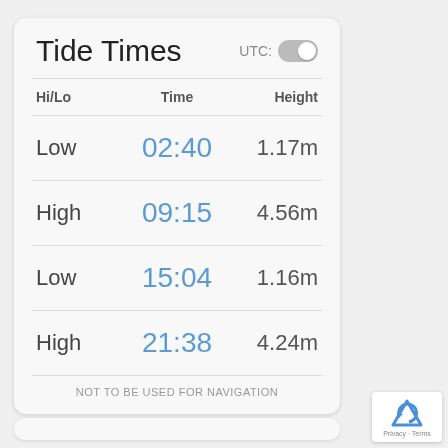Tide Times
| Hi/Lo | Time | Height |
| --- | --- | --- |
| Low | 02:40 | 1.17m |
| High | 09:15 | 4.56m |
| Low | 15:04 | 1.16m |
| High | 21:38 | 4.24m |
NOT TO BE USED FOR NAVIGATION